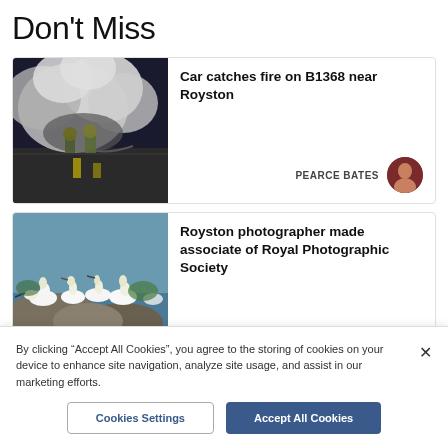Don't Miss
[Figure (photo): Firefighters on a road at night surrounded by heavy smoke from a car fire]
Car catches fire on B1368 near Royston
PEARCE BATES
[Figure (photo): Gannets/seabirds gathered on rocks by water]
Royston photographer made associate of Royal Photographic Society
By clicking “Accept All Cookies”, you agree to the storing of cookies on your device to enhance site navigation, analyze site usage, and assist in our marketing efforts.
Cookies Settings
Accept All Cookies